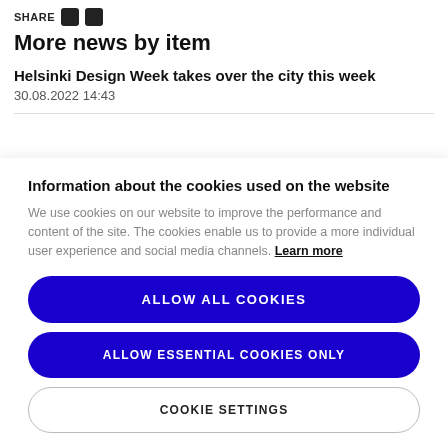SHARE
More news by item
Helsinki Design Week takes over the city this week
30.08.2022 14:43
Information about the cookies used on the website
We use cookies on our website to improve the performance and content of the site. The cookies enable us to provide a more individual user experience and social media channels. Learn more
ALLOW ALL COOKIES
ALLOW ESSENTIAL COOKIES ONLY
COOKIE SETTINGS